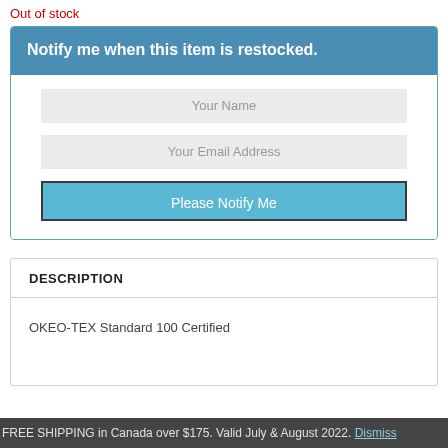Out of stock
Notify me when this item is restocked.
Your Name
Your Email Address
Please Notify Me
DESCRIPTION
OKEO-TEX Standard 100 Certified
FREE SHIPPING in Canada over $175. Valid July & August 2022. Dismiss